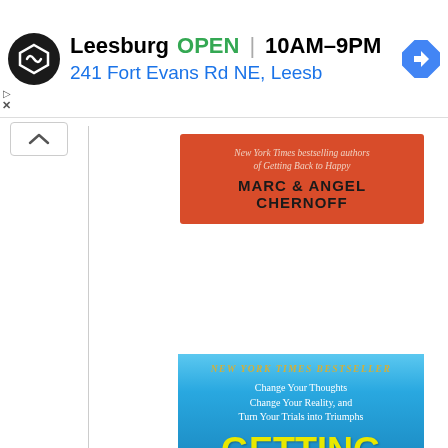[Figure (screenshot): Ad banner for a bookstore in Leesburg showing OPEN status, hours 10AM-9PM, address 241 Fort Evans Rd NE, Leesburg, with store logo and navigation arrow icon]
[Figure (screenshot): Book cover for 'Getting Back to Happy' by Marc & Angel Chernoff. Blue sky background with yellow bold title text. Subtitle: Change Your Thoughts Change Your Reality, and Turn Your Trials into Triumphs. NEW YORK TIMES BESTSELLER label in gold. Red strip at top showing authors as New York Times bestselling authors of Getting Back to Happy.]